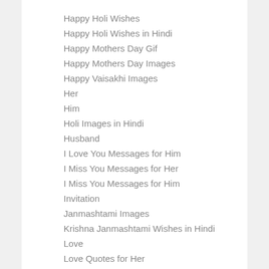Happy Holi Wishes
Happy Holi Wishes in Hindi
Happy Mothers Day Gif
Happy Mothers Day Images
Happy Vaisakhi Images
Her
Him
Holi Images in Hindi
Husband
I Love You Messages for Him
I Miss You Messages for Her
I Miss You Messages for Him
Invitation
Janmashtami Images
Krishna Janmashtami Wishes in Hindi
Love
Love Quotes for Her
Lover
Mahavir Jayanti Wishes